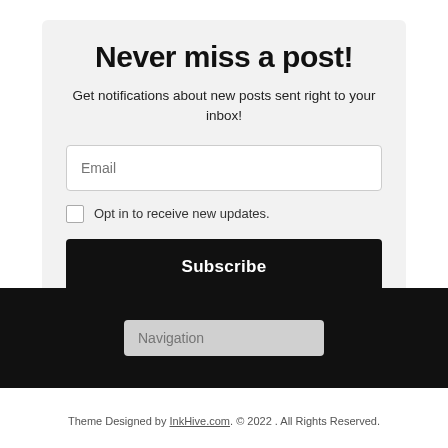Never miss a post!
Get notifications about new posts sent right to your inbox!
Email
Opt in to receive new updates.
Subscribe
Navigation
Theme Designed by InkhHive.com. © 2022 . All Rights Reserved.